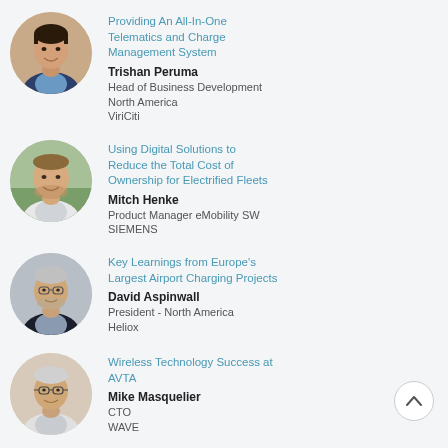[Figure (photo): Headshot of Trishan Peruma, smiling man in dark blazer]
Providing An All-In-One Telematics and Charge Management System
Trishan Peruma
Head of Business Development
North America
ViriCiti
[Figure (photo): Headshot of Mitch Henke, smiling man in light jacket outdoors]
Using Digital Solutions to Reduce the Total Cost of Ownership for Electrified Fleets
Mitch Henke
Product Manager eMobility SW
SIEMENS
[Figure (photo): Headshot of David Aspinwall, man with glasses in dark blazer]
Key Learnings from Europe's Largest Airport Charging Projects
David Aspinwall
President - North America
Heliox
[Figure (photo): Headshot of Mike Masquelier, man with glasses]
Wireless Technology Success at AVTA
Mike Masquelier
CTO
WAVE